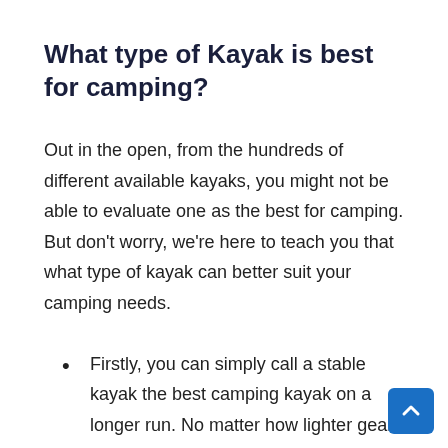What type of Kayak is best for camping?
Out in the open, from the hundreds of different available kayaks, you might not be able to evaluate one as the best for camping. But don't worry, we're here to teach you that what type of kayak can better suit your camping needs.
Firstly, you can simply call a stable kayak the best camping kayak on a longer run. No matter how lighter gears you try to pack, they will add up to the overall weight. Regardless of placed